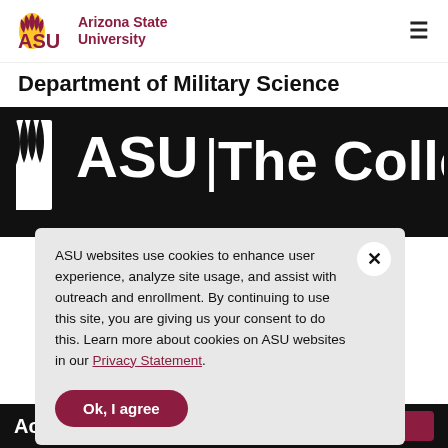[Figure (logo): Arizona State University logo with sunburst mark and text 'Arizona State University' in maroon]
Department of Military Science
[Figure (screenshot): Dark banner with large white ASU logo and text 'The College']
ASU websites use cookies to enhance user experience, analyze site usage, and assist with outreach and enrollment. By continuing to use this site, you are giving us your consent to do this. Learn more about cookies on ASU websites in our Privacy Statement.
Ok, I agree
Academics